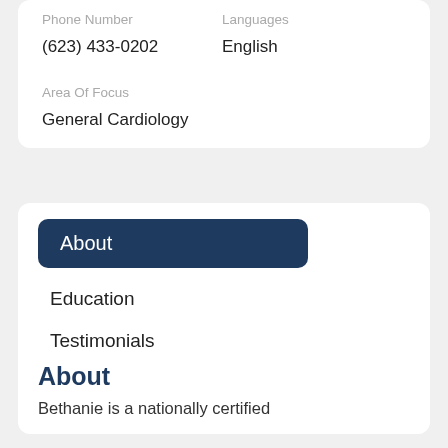Phone Number
Languages
(623) 433-0202
English
Area Of Focus
General Cardiology
About
Education
Testimonials
About
Bethanie is a nationally certified